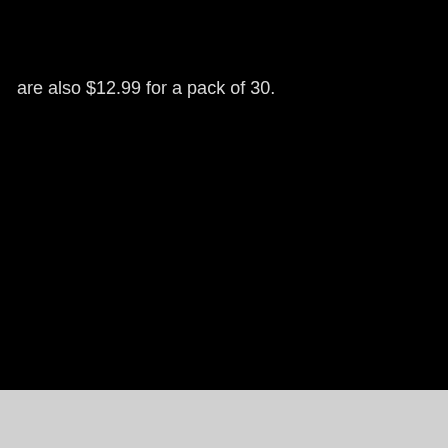are also $12.99 for a pack of 30.